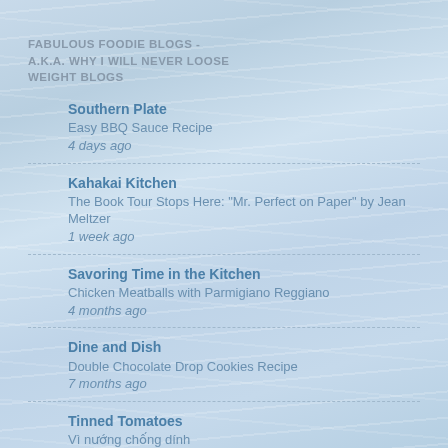FABULOUS FOODIE BLOGS - A.K.A. WHY I WILL NEVER LOOSE WEIGHT BLOGS
Southern Plate
Easy BBQ Sauce Recipe
4 days ago
Kahakai Kitchen
The Book Tour Stops Here: "Mr. Perfect on Paper" by Jean Meltzer
1 week ago
Savoring Time in the Kitchen
Chicken Meatballs with Parmigiano Reggiano
4 months ago
Dine and Dish
Double Chocolate Drop Cookies Recipe
7 months ago
Tinned Tomatoes
Vì nướng chống dính